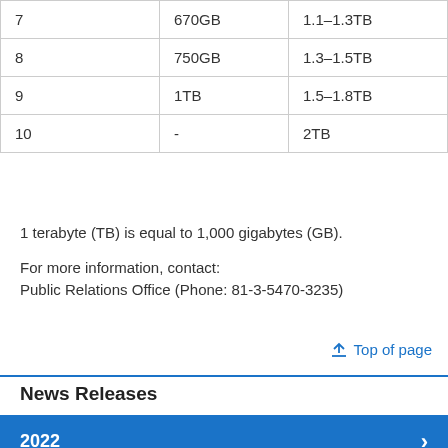| 7 | 670GB | 1.1–1.3TB |
| 8 | 750GB | 1.3–1.5TB |
| 9 | 1TB | 1.5–1.8TB |
| 10 | - | 2TB |
1 terabyte (TB) is equal to 1,000 gigabytes (GB).
For more information, contact:
Public Relations Office (Phone: 81-3-5470-3235)
Top of page
News Releases
2022